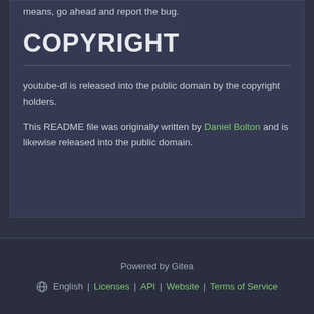means, go ahead and report the bug.
COPYRIGHT
youtube-dl is released into the public domain by the copyright holders.
This README file was originally written by Daniel Bolton and is likewise released into the public domain.
Powered by Gitea
⊕ English | Licenses | API | Website | Terms of Service